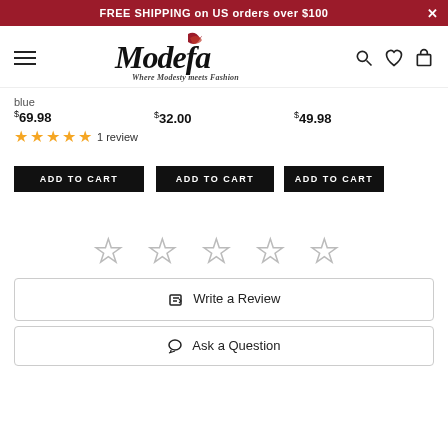FREE SHIPPING on US orders over $100
[Figure (logo): Modefa logo with tagline 'Where Modesty meets Fashion']
blue
$69.98
$32.00
$49.98
★★★★★ 1 review
ADD TO CART
ADD TO CART
ADD TO CART
[Figure (other): Five empty star rating icons for review]
✎ Write a Review
✉ Ask a Question